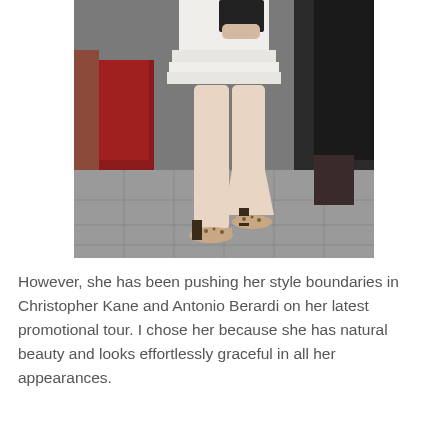[Figure (photo): Photo of a woman from waist down wearing a white ruffled mini dress and leopard-print heels, holding a dark clutch, standing on a red carpet with a tiled floor background.]
However, she has been pushing her style boundaries in Christopher Kane and Antonio Berardi on her latest promotional tour. I chose her because she has natural beauty and looks effortlessly graceful in all her appearances.